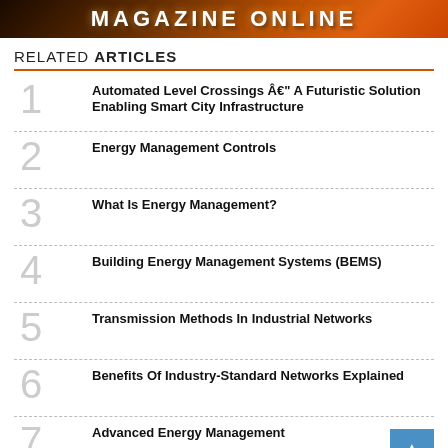[Figure (illustration): Magazine Online header banner with dark fiery gradient background and white uppercase bold text reading MAGAZINE ONLINE]
RELATED ARTICLES
Automated Level Crossings Â€" A Futuristic Solution Enabling Smart City Infrastructure
Energy Management Controls
What Is Energy Management?
Building Energy Management Systems (BEMS)
Transmission Methods In Industrial Networks
Benefits Of Industry-Standard Networks Explained
Advanced Energy Management